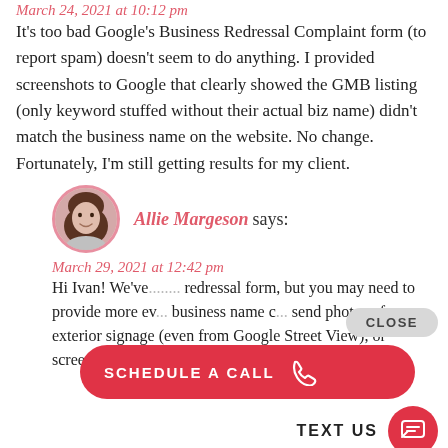March 24, 2021 at 10:12 pm
It's too bad Google's Business Redressal Complaint form (to report spam) doesn't seem to do anything. I provided screenshots to Google that clearly showed the GMB listing (only keyword stuffed without their actual biz name) didn't match the business name on the website. No change. Fortunately, I'm still getting results for my client.
[Figure (photo): Circular avatar photo of Allie Margeson, a woman with brown hair, smiling, with a pink border]
Allie Margeson says:
March 29, 2021 at 12:42 pm
Hi Ivan! We've... redressal form, but you may need to provide more ev... business name c... send photos of exterior signage (even from Google Street View), or screenshots
[Figure (screenshot): CLOSE button overlay (gray pill shape) and SCHEDULE A CALL button (red pill with phone icon) and TEXT US label with red circle chat icon]